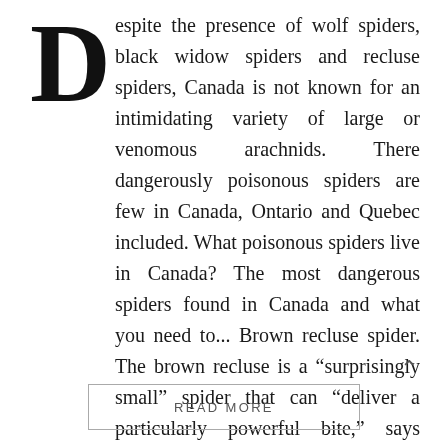Despite the presence of wolf spiders, black widow spiders and recluse spiders, Canada is not known for an intimidating variety of large or venomous arachnids. There dangerously poisonous spiders are few in Canada, Ontario and Quebec included. What poisonous spiders live in Canada? The most dangerous spiders found in Canada and what you need to... Brown recluse spider. The brown recluse is a “surprisingly small” spider that can “deliver a particularly powerful bite,” says Ewing. Yellow sac spider. Black widow spider. Wolf spider. Are there poisonous spiders in Ontario? Although most spiders inject venom into their prey, few are harmful to humans. Ontario is home to the highly poisonous black...
READ MORE